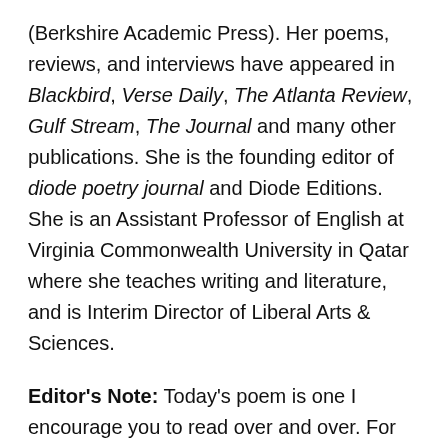(Berkshire Academic Press). Her poems, reviews, and interviews have appeared in Blackbird, Verse Daily, The Atlanta Review, Gulf Stream, The Journal and many other publications. She is the founding editor of diode poetry journal and Diode Editions. She is an Assistant Professor of English at Virginia Commonwealth University in Qatar where she teaches writing and literature, and is Interim Director of Liberal Arts & Sciences.
Editor's Note: Today's poem is one I encourage you to read over and over. For each reading is like opening the next layer of a Russian doll, and there is always more waiting to be discovered within. While one reading simply does not do the poem justice, you honor yourself, dear reader, each time you slip deeper into these words.
Start in media res. Start in motion. Begin not at the